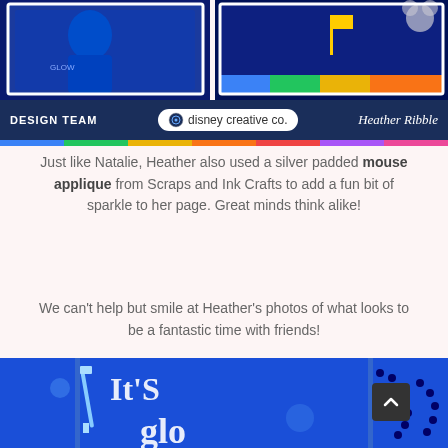[Figure (photo): Cropped top portion of a scrapbook layout featuring blue-toned photos with Disney theme, showing a person in blue glow light and another colorful Disney-themed panel with a flag and Mickey Mouse motif]
[Figure (infographic): Dark blue banner reading DESIGN TEAM on left, disney creative co. logo in center on white pill background, and 'Heather Ribble' in cursive script on right]
Just like Natalie, Heather also used a silver padded mouse applique from Scraps and Ink Crafts to add a fun bit of sparkle to her page. Great minds think alike!
We can't help but smile at Heather's photos of what looks to be a fantastic time with friends!
It's Glow Time! by Heather Ribble- close-up:
[Figure (photo): Close-up of a scrapbook page on blue background showing 'It's glow' text in white/silver letters, with a syringe prop, beads, and glowing elements on a bright blue surface]